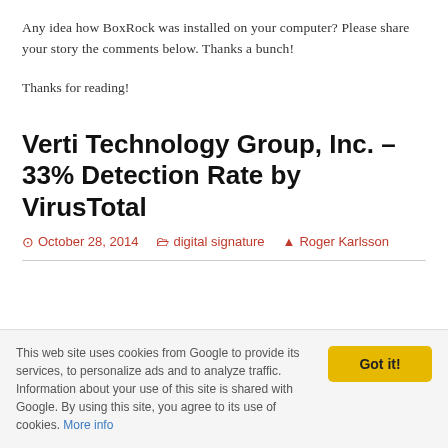Any idea how BoxRock was installed on your computer? Please share your story the comments below. Thanks a bunch!
Thanks for reading!
Verti Technology Group, Inc. – 33% Detection Rate by VirusTotal
October 28, 2014   digital signature   Roger Karlsson
This web site uses cookies from Google to provide its services, to personalize ads and to analyze traffic. Information about your use of this site is shared with Google. By using this site, you agree to its use of cookies. More info